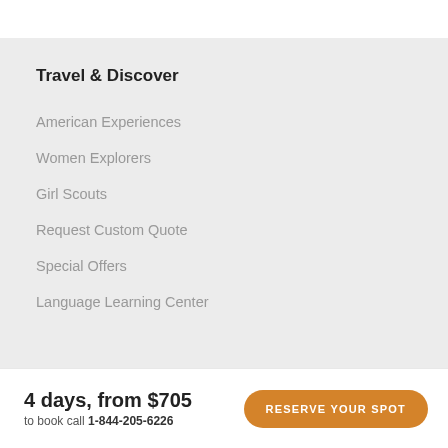Travel & Discover
American Experiences
Women Explorers
Girl Scouts
Request Custom Quote
Special Offers
Language Learning Center
4 days, from $705
to book call 1-844-205-6226
Reserve your spot